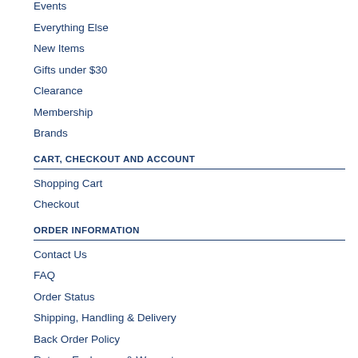Events
Everything Else
New Items
Gifts under $30
Clearance
Membership
Brands
CART, CHECKOUT AND ACCOUNT
Shopping Cart
Checkout
ORDER INFORMATION
Contact Us
FAQ
Order Status
Shipping, Handling & Delivery
Back Order Policy
Return, Exchange, & Warranty